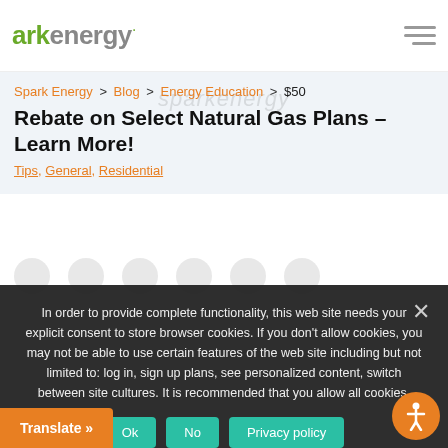ark energy
$50 Rebate on Select Natural Gas Plans – Learn More!
Spark Energy > Blog > Energy Education > $50 Rebate on Select Natural Gas Plans – Learn More!
Tips, General, Residential
In order to provide complete functionality, this web site needs your explicit consent to store browser cookies. If you don't allow cookies, you may not be able to use certain features of the web site including but not limited to: log in, sign up plans, see personalized content, switch between site cultures. It is recommended that you allow all cookies.
Ok
No
Privacy policy
Translate »